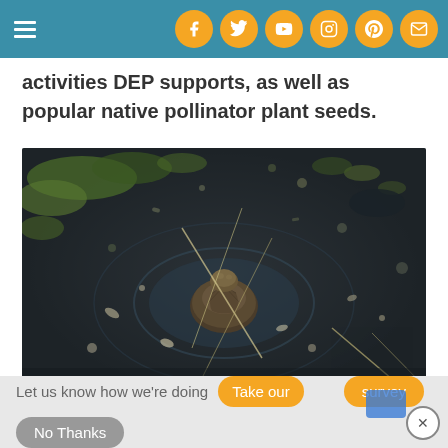Navigation bar with hamburger menu and social icons (Facebook, Twitter, YouTube, Instagram, Pinterest, Email)
activities DEP supports, as well as popular native pollinator plant seeds.
[Figure (photo): Close-up photo of what appears to be a turtle or amphibian partially submerged in dark muddy water with aquatic debris and vegetation.]
Let us know how we're doing
Take our survey
No Thanks